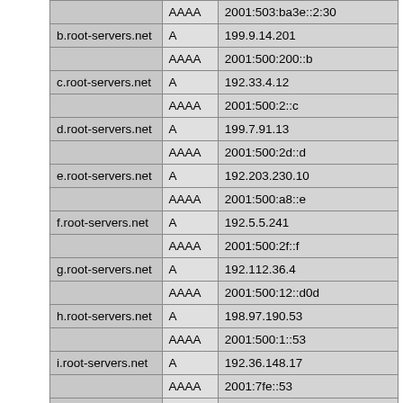| Name | Type | Address |
| --- | --- | --- |
|  | AAAA | 2001:503:ba3e::2:30 |
| b.root-servers.net | A | 199.9.14.201 |
|  | AAAA | 2001:500:200::b |
| c.root-servers.net | A | 192.33.4.12 |
|  | AAAA | 2001:500:2::c |
| d.root-servers.net | A | 199.7.91.13 |
|  | AAAA | 2001:500:2d::d |
| e.root-servers.net | A | 192.203.230.10 |
|  | AAAA | 2001:500:a8::e |
| f.root-servers.net | A | 192.5.5.241 |
|  | AAAA | 2001:500:2f::f |
| g.root-servers.net | A | 192.112.36.4 |
|  | AAAA | 2001:500:12::d0d |
| h.root-servers.net | A | 198.97.190.53 |
|  | AAAA | 2001:500:1::53 |
| i.root-servers.net | A | 192.36.148.17 |
|  | AAAA | 2001:7fe::53 |